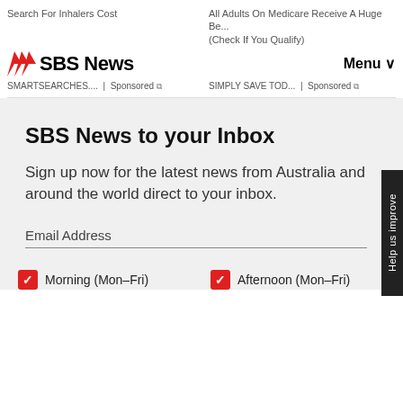SBS News
Search For Inhalers Cost
All Adults On Medicare Receive A Huge Be... (Check If You Qualify)
SMARTSEARCHES.... | Sponsored
SIMPLY SAVE TOD... | Sponsored
SBS News to your Inbox
Sign up now for the latest news from Australia and around the world direct to your inbox.
Email Address
Morning (Mon–Fri)
Afternoon (Mon–Fri)